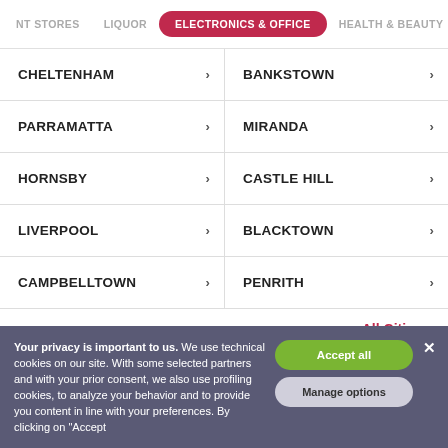NT STORES | LIQUOR | ELECTRONICS & OFFICE | HEALTH & BEAUTY
CHELTENHAM
BANKSTOWN
PARRAMATTA
MIRANDA
HORNSBY
CASTLE HILL
LIVERPOOL
BLACKTOWN
CAMPBELLTOWN
PENRITH
All Cities >
Your privacy is important to us. We use technical cookies on our site. With some selected partners and with your prior consent, we also use profiling cookies, to analyze your behavior and to provide you content in line with your preferences. By clicking on "Accept
Accept all
Manage options